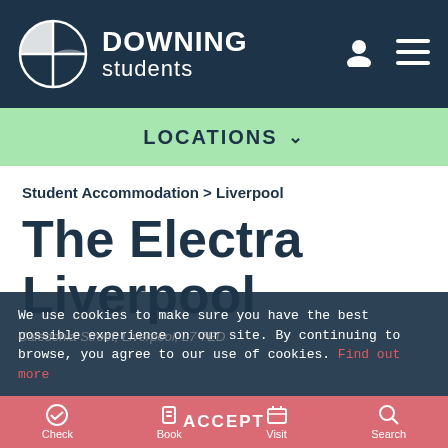[Figure (logo): Downing Students logo with circular quartered globe icon and brand name]
LOCATIONS ˅
Student Accommodation > Liverpool
The Electra Liverpool
We use cookies to make sure you have the best possible experience on our site. By continuing to browse, you agree to our use of cookies. Find out more
Check   Book   ACCEPT   Visit   Search